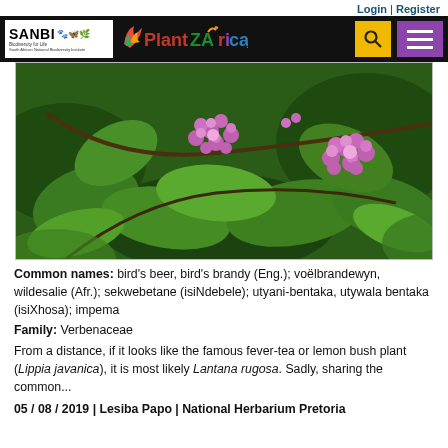Login | Register
[Figure (logo): SANBI and PlantZAfrica.com navigation bar with search and menu buttons]
[Figure (photo): Close-up photograph of Lantana rugosa plant with pink/purple flowers and green leaves]
Common names: bird's beer, bird's brandy (Eng.); voëlbrandewyn, wildesalie (Afr.); sekwebetane (isiNdebele); utyani-bentaka, utywala bentaka (isiXhosa); impema
Family: Verbenaceae
From a distance, if it looks like the famous fever-tea or lemon bush plant (Lippia javanica), it is most likely Lantana rugosa. Sadly, sharing the common...
05 / 08 / 2019 | Lesiba Papo | National Herbarium Pretoria